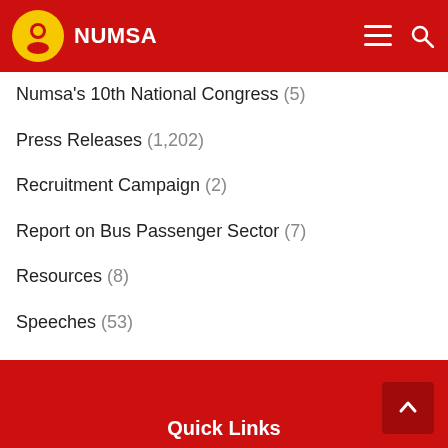NUMSA
Numsa's 10th National Congress (5)
Press Releases (1,202)
Recruitment Campaign (2)
Report on Bus Passenger Sector (7)
Resources (8)
Speeches (53)
Uncategorized (26)
UPCOMING EVENT (4)
UPCOMING EVENTS (2)
Videos (11)
Quick Links